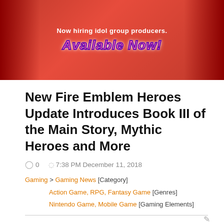[Figure (illustration): Red/pink banner advertisement for a mobile game with text 'Now hiring idol group producers.' and 'Available Now!' in stylized pink text with purple outline]
New Fire Emblem Heroes Update Introduces Book III of the Main Story, Mythic Heroes and More
0  7:38 PM December 11, 2018
Gaming > Gaming News [Category] Action Game, RPG, Fantasy Game [Genres] Nintendo Game, Mobile Game [Gaming Elements]
♥ 0
[Figure (photo): Two side-by-side game screenshots: left shows Fire Emblem Heroes title card with dark purple background and floating orbs; right shows a character with silver/white hair and purple magical effects]